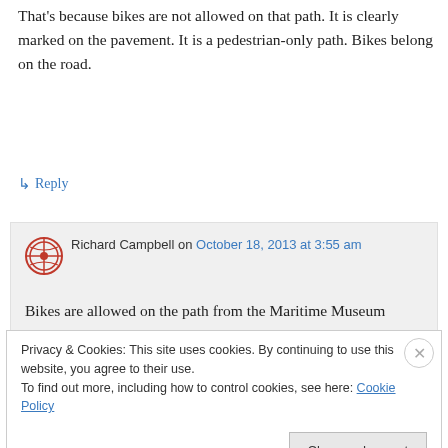That's because bikes are not allowed on that path. It is clearly marked on the pavement. It is a pedestrian-only path. Bikes belong on the road.
↳ Reply
Richard Campbell on October 18, 2013 at 3:55 am
Bikes are allowed on the path from the Maritime Museum along Kits Beach passed
Privacy & Cookies: This site uses cookies. By continuing to use this website, you agree to their use.
To find out more, including how to control cookies, see here: Cookie Policy
Close and accept